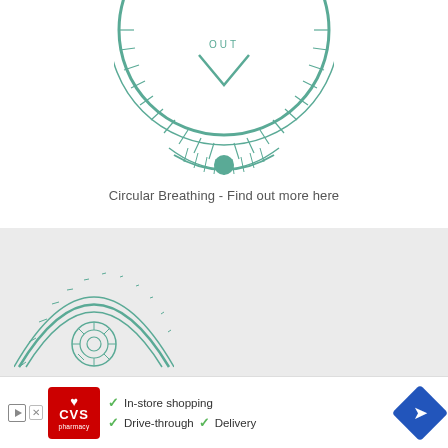[Figure (illustration): Bottom half of a circular breathing diagram in teal/green, showing a decorative circle with radiating lines and hatching, a downward chevron arrow with the word OUT, and a central circular dot at the bottom, forming an ornate mandala-style breathing guide.]
Circular Breathing - Find out more here
[Figure (illustration): Partial view of a second circular breathing or meditation diagram in teal/green, showing the top arch of a decorative mandala with a central flower/rose motif, visible at the bottom of the gray section.]
[Figure (other): Advertisement banner for CVS Pharmacy showing the CVS logo with a heart, and three features listed with checkmarks: In-store shopping, Drive-through, and Delivery. A blue navigation/directions icon is on the right.]